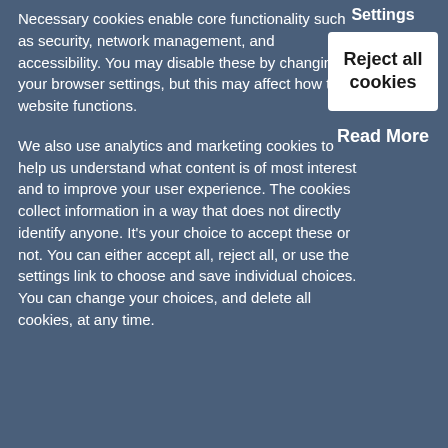Necessary cookies enable core functionality such as security, network management, and accessibility. You may disable these by changing your browser settings, but this may affect how the website functions.
Settings
Reject all cookies
Read More
We also use analytics and marketing cookies to help us understand what content is of most interest and to improve your user experience. The cookies collect information in a way that does not directly identify anyone. It's your choice to accept these or not. You can either accept all, reject all, or use the settings link to choose and save individual choices. You can change your choices, and delete all cookies, at any time.